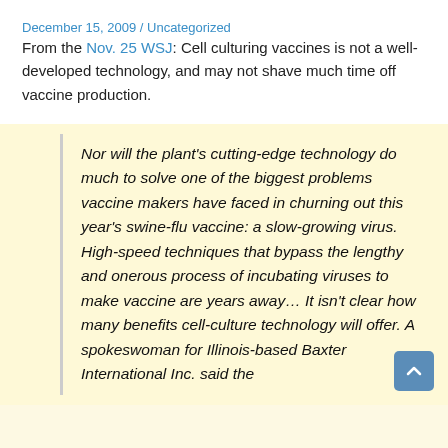December 15, 2009 / Uncategorized
From the Nov. 25 WSJ: Cell culturing vaccines is not a well-developed technology, and may not shave much time off vaccine production.
Nor will the plant’s cutting-edge technology do much to solve one of the biggest problems vaccine makers have faced in churning out this year’s swine-flu vaccine: a slow-growing virus. High-speed techniques that bypass the lengthy and onerous process of incubating viruses to make vaccine are years away… It isn’t clear how many benefits cell-culture technology will offer. A spokeswoman for Illinois-based Baxter International Inc. said the